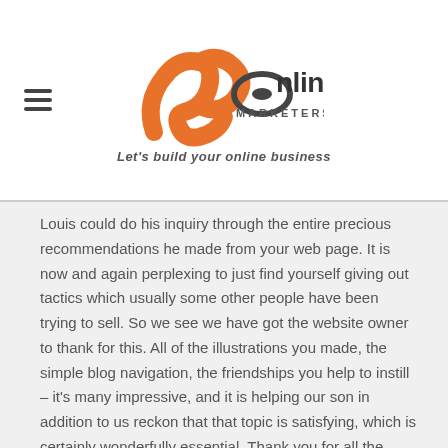[Figure (logo): JR Online Marketers logo with orange swoosh graphic and text reading 'JR Online Marketers' with tagline 'Let's build your online business']
Louis could do his inquiry through the entire precious recommendations he made from your web page. It is now and again perplexing to just find yourself giving out tactics which usually some other people have been trying to sell. So we see we have got the website owner to thank for this. All of the illustrations you made, the simple blog navigation, the friendships you help to instill – it's many impressive, and it is helping our son in addition to us reckon that that topic is satisfying, which is certainly wonderfully essential. Thank you for all the pieces!